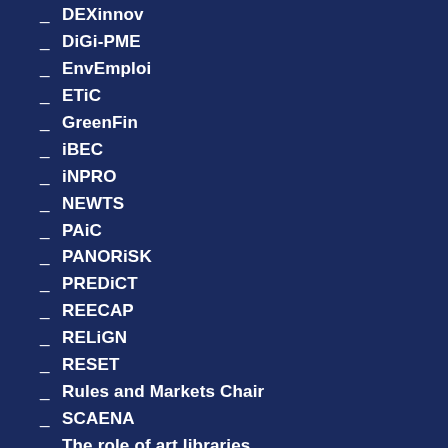_ DEXinnov
_ DiGi-PME
_ EnvEmploi
_ ETiC
_ GreenFin
_ iBEC
_ iNPRO
_ NEWTS
_ PAiC
_ PANORiSK
_ PREDiCT
_ REECAP
_ RELiGN
_ RESET
_ Rules and Markets Chair
_ SCAENA
_ The role of art libraries
_ The XXist century banker